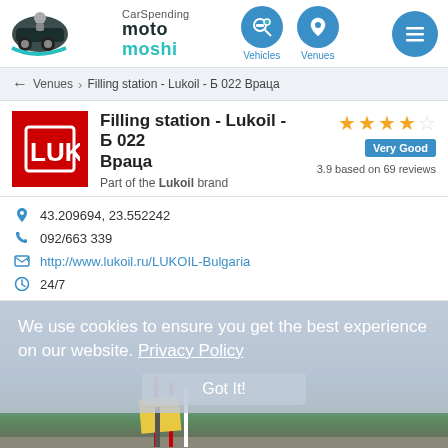[Figure (logo): CarSpending moto moshi logo with car icon and teal/dark color scheme]
[Figure (infographic): Navigation icons: Vehicles (car search), Venues (location pin), and hamburger menu — all in blue circles]
← Venues > Filling station - Lukoil - Б 022 Враца
[Figure (logo): Lukoil red square logo with LUK letters in white]
Filling station - Lukoil - Б 022
Враца
Part of the Lukoil brand
3.9 based on 69 reviews
43.209694, 23.552242
092/663 339
http://www.lukoil.ru/LUKOIL-Bulgaria
24/7
We use cookies to ensure you get the best experience on our website. Privacy Policy
Got It!
[Figure (photo): Street-level photo of Lukoil filling station area in Враца, Bulgaria, showing road signs, mountains in background, and Lukoil banners]